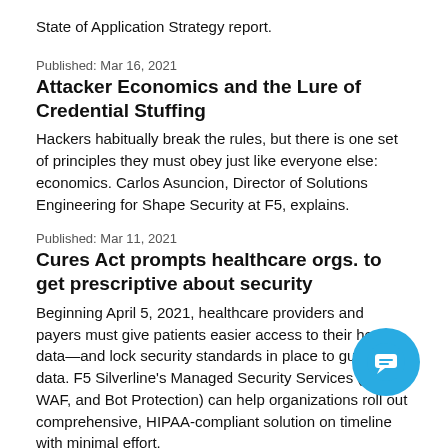State of Application Strategy report.
Published: Mar 16, 2021
Attacker Economics and the Lure of Credential Stuffing
Hackers habitually break the rules, but there is one set of principles they must obey just like everyone else: economics. Carlos Asuncion, Director of Solutions Engineering for Shape Security at F5, explains.
Published: Mar 11, 2021
Cures Act prompts healthcare orgs. to get prescriptive about security
Beginning April 5, 2021, healthcare providers and payers must give patients easier access to their health data—and lock security standards in place to guard that data. F5 Silverline's Managed Security Services (DDoS, WAF, and Bot Protection) can help organizations roll out comprehensive, HIPAA-compliant solution on timeline with minimal effort.
Published: Mar 11, 2021
[Figure (illustration): Blue circular chat/message icon with speech bubble symbol]